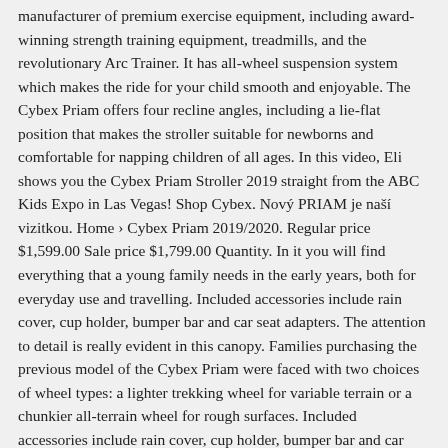manufacturer of premium exercise equipment, including award-winning strength training equipment, treadmills, and the revolutionary Arc Trainer. It has all-wheel suspension system which makes the ride for your child smooth and enjoyable. The Cybex Priam offers four recline angles, including a lie-flat position that makes the stroller suitable for newborns and comfortable for napping children of all ages. In this video, Eli shows you the Cybex Priam Stroller 2019 straight from the ABC Kids Expo in Las Vegas! Shop Cybex. Nový PRIAM je naší vizitkou. Home › Cybex Priam 2019/2020. Regular price $1,599.00 Sale price $1,799.00 Quantity. In it you will find everything that a young family needs in the early years, both for everyday use and travelling. Included accessories include rain cover, cup holder, bumper bar and car seat adapters. The attention to detail is really evident in this canopy. Families purchasing the previous model of the Cybex Priam were faced with two choices of wheel types: a lighter trekking wheel for variable terrain or a chunkier all-terrain wheel for rough surfaces. Included accessories include rain cover, cup holder, bumper bar and car seat adapters. There is a leather-look bumper bar which opens to the side for easy access to the seat. The actual seat is 13" wide with 23" seat back and a measurement of 25" from the bottom of the seat to